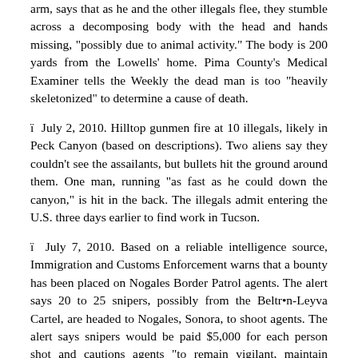arm, says that as he and the other illegals flee, they stumble across a decomposing body with the head and hands missing, "possibly due to animal activity." The body is 200 yards from the Lowells' home. Pima County's Medical Examiner tells the Weekly the dead man is too "heavily skeletonized" to determine a cause of death.
ï  July 2, 2010. Hilltop gunmen fire at 10 illegals, likely in Peck Canyon (based on descriptions). Two aliens say they couldn't see the assailants, but bullets hit the ground around them. One man, running "as fast as he could down the canyon," is hit in the back. The illegals admit entering the U.S. three days earlier to find work in Tucson.
ï  July 7, 2010. Based on a reliable intelligence source, Immigration and Customs Enforcement warns that a bounty has been placed on Nogales Border Patrol agents. The alert says 20 to 25 snipers, possibly from the Beltr•n-Leyva Cartel, are headed to Nogales, Sonora, to shoot agents. The alert says snipers would be paid $5,000 for each person shot and cautions agents "to remain vigilant, maintain awareness of their surroundings, and utilize body armor and long arms as appropriate."
ï  Aug. 28, 2010. Two men in camouflage carrying handguns approach two Hispanic males between Peck Canyon and Negro Canyon. The gunmen ask, in Spanish, for the marijuana." The man